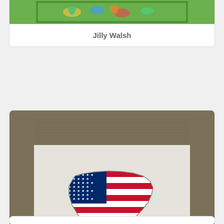[Figure (photo): Partial view of a needlepoint or embroidered item with green border and colorful animal/cartoon characters, from Jilly Walsh brand]
Jilly Walsh
[Figure (photo): Needlepoint canvas showing the state of South Carolina filled with an American flag pattern (blue canton with white stars, red and white stripes), displayed on a khaki/tan textured fabric background]
Kangaroo Paws
[Figure (photo): Partially visible card at the bottom of the page]